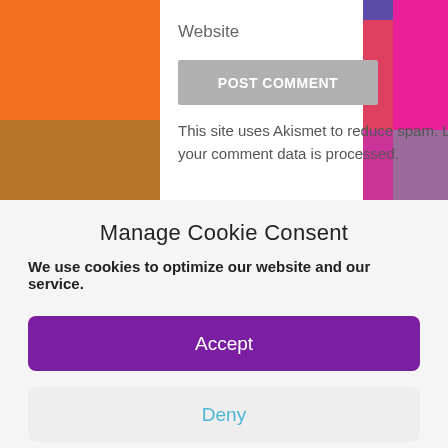Website
POST COMMENT
This site uses Akismet to reduce spam. Learn how your comment data is processed.
Manage Cookie Consent
We use cookies to optimize our website and our service.
Accept
Deny
Preferences